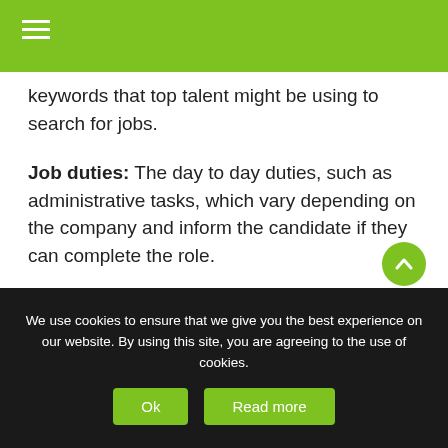keywords that top talent might be using to search for jobs.
Job duties: The day to day duties, such as administrative tasks, which vary depending on the company and inform the candidate if they can complete the role.
Technical skills: These are the hard skills required through training, such as proficiency with Microsoft Office.
Soft skills: These include the interpersonal skills and general abilities the right candidates will possess. For example, the competency to prioritise multiple tasks, handle customer queries and customer complaints, work alone, or build a good relationship with coworkers.
We use cookies to ensure that we give you the best experience on our website. By using this site, you are agreeing to the use of cookies. Ok  Read more